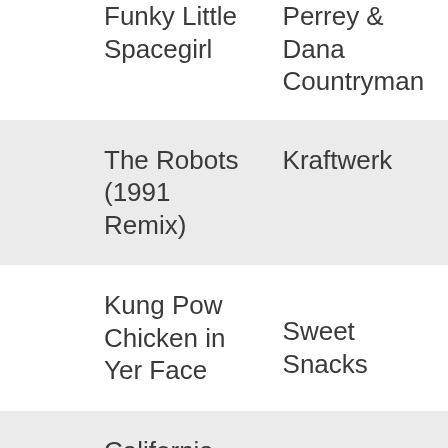| Song | Artist |
| --- | --- |
| Funky Little Spacegirl | Perrey & Dana Countryman |
| The Robots (1991 Remix) | Kraftwerk |
| Kung Pow Chicken in Yer Face | Sweet Snacks |
| California Saga (On My Way To Sunny | The Beach Boys |